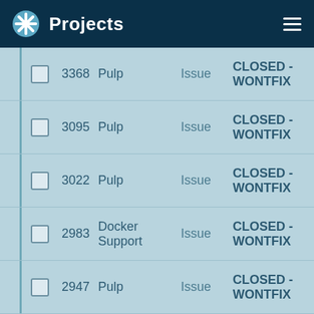Projects
|  | ID | Project | Type | Status |
| --- | --- | --- | --- | --- |
|  | 3368 | Pulp | Issue | CLOSED - WONTFIX |
|  | 3095 | Pulp | Issue | CLOSED - WONTFIX |
|  | 3022 | Pulp | Issue | CLOSED - WONTFIX |
|  | 2983 | Docker Support | Issue | CLOSED - WONTFIX |
|  | 2947 | Pulp | Issue | CLOSED - WONTFIX |